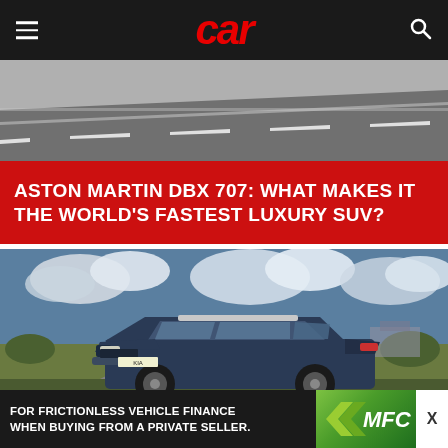car
[Figure (photo): Aerial/road-level view of a highway road with white lane markings, grey asphalt, blurred motion, grey sky background.]
ASTON MARTIN DBX 707: WHAT MAKES IT THE WORLD'S FASTEST LUXURY SUV?
[Figure (photo): A dark blue Kia SUV driving on a road with cloudy sky and green bushes in the background.]
FOR FRICTIONLESS VEHICLE FINANCE WHEN BUYING FROM A PRIVATE SELLER.